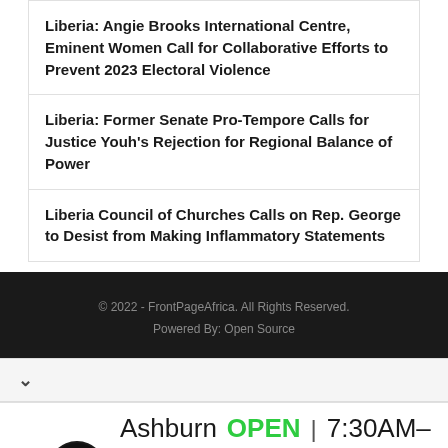Liberia: Angie Brooks International Centre, Eminent Women Call for Collaborative Efforts to Prevent 2023 Electoral Violence
Liberia: Former Senate Pro-Tempore Calls for Justice Youh's Rejection for Regional Balance of Power
Liberia Council of Churches Calls on Rep. George to Desist from Making Inflammatory Statements
© 2022 - FrontPageAfrica. All Rights Reserved.
Powered By: Open Source
[Figure (other): Advertisement banner for Virginia Tire & Auto in Ashburn showing logo, OPEN status, hours 7:30AM-6PM, and address 43781 Parkhurst Plaza, Ashburn with navigation arrow icon]